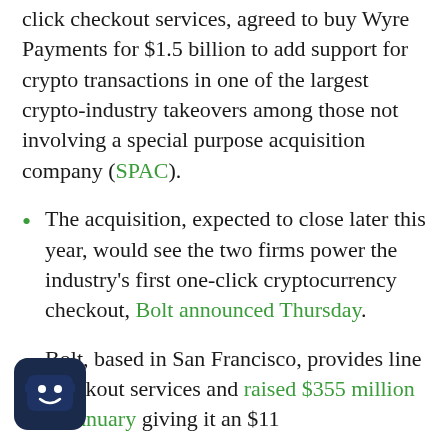click checkout services, agreed to buy Wyre Payments for $1.5 billion to add support for crypto transactions in one of the largest crypto-industry takeovers among those not involving a special purpose acquisition company (SPAC).
The acquisition, expected to close later this year, would see the two firms power the industry's first one-click cryptocurrency checkout, Bolt announced Thursday.
Bolt, based in San Francisco, provides online checkout services and raised $355 million in January giving it an $11